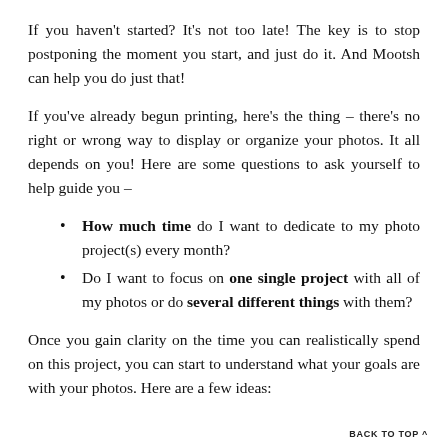If you haven't started? It's not too late! The key is to stop postponing the moment you start, and just do it. And Mootsh can help you do just that!
If you've already begun printing, here's the thing – there's no right or wrong way to display or organize your photos. It all depends on you! Here are some questions to ask yourself to help guide you –
How much time do I want to dedicate to my photo project(s) every month?
Do I want to focus on one single project with all of my photos or do several different things with them?
Once you gain clarity on the time you can realistically spend on this project, you can start to understand what your goals are with your photos. Here are a few ideas:
BACK TO TOP ^